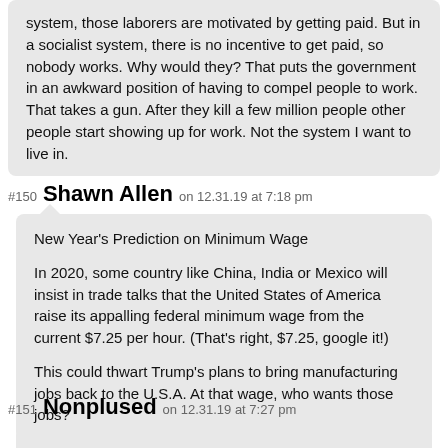system, those laborers are motivated by getting paid. But in a socialist system, there is no incentive to get paid, so nobody works. Why would they? That puts the government in an awkward position of having to compel people to work. That takes a gun. After they kill a few million people other people start showing up for work. Not the system I want to live in.
#150 Shawn Allen on 12.31.19 at 7:18 pm
New Year's Prediction on Minimum Wage

In 2020, some country like China, India or Mexico will insist in trade talks that the United States of America raise its appalling federal minimum wage from the current $7.25 per hour. (That's right, $7.25, google it!)

This could thwart Trump's plans to bring manufacturing jobs back to the U.S.A. At that wage, who wants those jobs?
#151 Nonplused on 12.31.19 at 7:27 pm